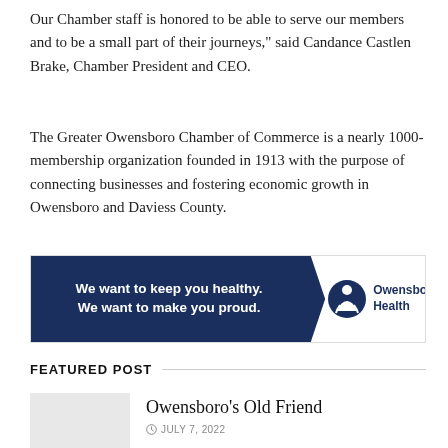Our Chamber staff is honored to be able to serve our members and to be a small part of their journeys,” said Candance Castlen Brake, Chamber President and CEO.
The Greater Owensboro Chamber of Commerce is a nearly 1000-membership organization founded in 1913 with the purpose of connecting businesses and fostering economic growth in Owensboro and Daviess County.
[Figure (other): Advertisement banner for Owensboro Health. Left side: dark navy background with white bold text reading 'We want to keep you healthy. We want to make you proud.' Right side: white background with Owensboro Health logo (circular figure icon and text 'Owensboro Health').]
FEATURED POST
Owensboro’s Old Friend
JULY 7, 2022